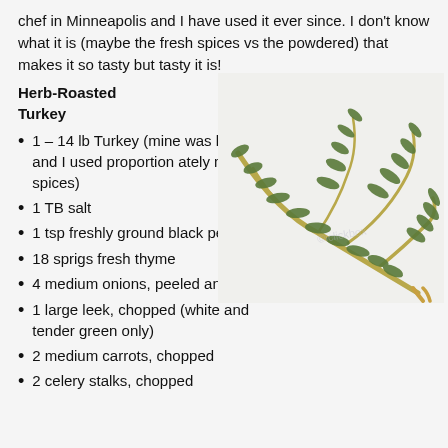chef in Minneapolis and I have used it ever since. I don't know what it is (maybe the fresh spices vs the powdered) that makes it so tasty but tasty it is!
Herb-Roasted Turkey
[Figure (photo): A sprig of fresh thyme herb with green leaves on yellowish stems against a light background]
1 – 14 lb Turkey (mine was larger and I used proportionately more spices)
1 TB salt
1 tsp freshly ground black pepper
18 sprigs fresh thyme
4 medium onions, peeled and sliced
1 large leek, chopped (white and tender green only)
2 medium carrots, chopped
2 celery stalks, chopped